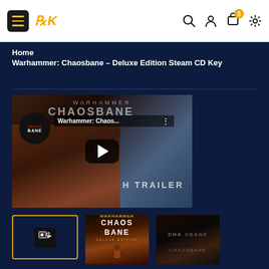RK [hamburger menu, search, account, cart (0), settings icons]
Home
Warhammer: Chaosbane - Deluxe Edition Steam CD Key
[Figure (screenshot): YouTube-style video thumbnail showing Warhammer: Chaosbane trailer. Features a dwarf character, dark fantasy setting, with Chaosbane logo badge, title bar reading 'Warhammer: Chaos...', a play button in the center, and 'H TRAILER' text visible.]
[Figure (screenshot): Thumbnail row with three items: (1) video thumbnail placeholder with camera icon and gold border, (2) Warhammer Chaosbane Deluxe Edition cover art showing armored dwarf character with game logo, (3) dark Chaosbane logo thumbnail]